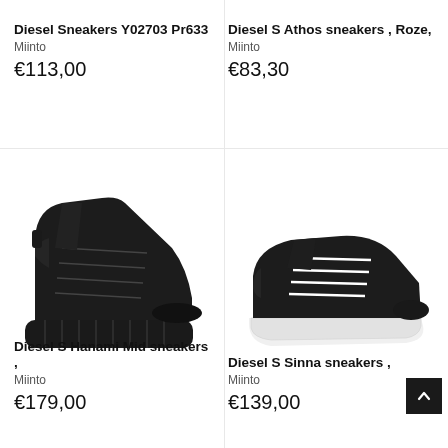Diesel Sneakers Y02703 Pr633
Miinto
€113,00
Diesel S Athos sneakers , Roze,
Miinto
€83,30
[Figure (photo): Black high-top platform sneaker (Diesel S Hanami Mid) with ridged thick black sole, black laces, on white background]
[Figure (photo): Black low-top suede sneaker (Diesel S Sinna) with white sole and white laces, on white background]
Diesel S Hanami Mid sneakers ,
Miinto
€179,00
Diesel S Sinna sneakers ,
Miinto
€139,00